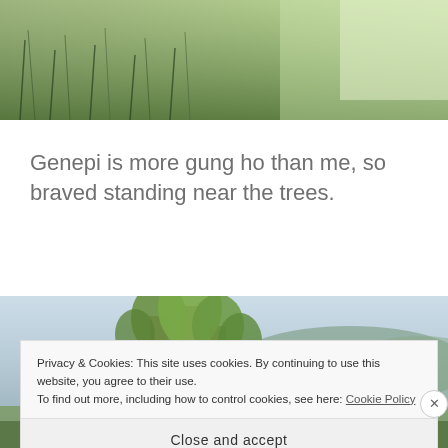[Figure (photo): Top portion of a nature photo showing dense green grass and reeds with some lighter areas]
Genepi is more gung ho than me, so braved standing near the trees.
[Figure (photo): Landscape photo showing trees and forest with misty background near a body of water]
Privacy & Cookies: This site uses cookies. By continuing to use this website, you agree to their use.
To find out more, including how to control cookies, see here: Cookie Policy
Close and accept